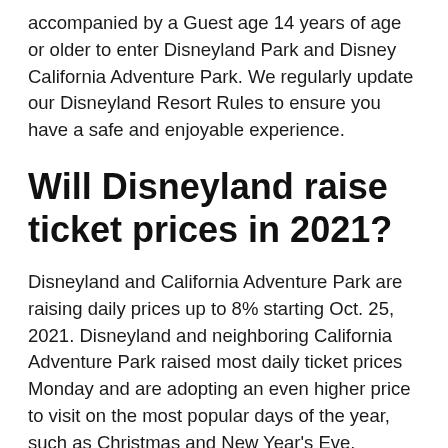accompanied by a Guest age 14 years of age or older to enter Disneyland Park and Disney California Adventure Park. We regularly update our Disneyland Resort Rules to ensure you have a safe and enjoyable experience.
Will Disneyland raise ticket prices in 2021?
Disneyland and California Adventure Park are raising daily prices up to 8% starting Oct. 25, 2021. Disneyland and neighboring California Adventure Park raised most daily ticket prices Monday and are adopting an even higher price to visit on the most popular days of the year, such as Christmas and New Year's Eve.